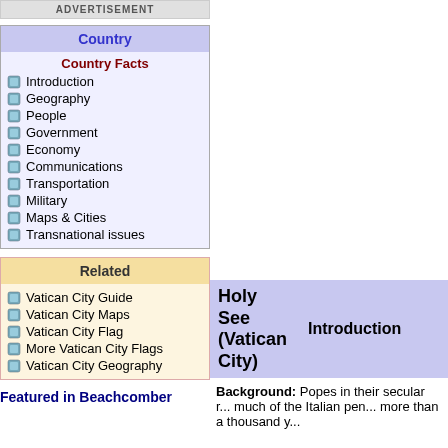ADVERTISEMENT
Country
Country Facts
Introduction
Geography
People
Government
Economy
Communications
Transportation
Military
Maps & Cities
Transnational issues
Related
Vatican City Guide
Vatican City Maps
Vatican City Flag
More Vatican City Flags
Vatican City Geography
Holy See (Vatican City)
Introduction
Background: Popes in their secular r... much of the Italian pen... more than a thousand y...
Featured in Beachcomber